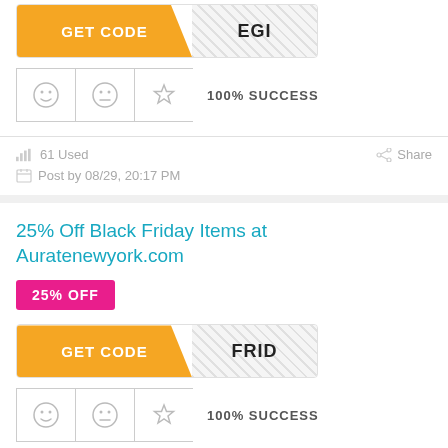[Figure (other): GET CODE button with orange left section and hatched right section showing partial code 'EGI']
[Figure (other): Rating icons row: smiley, neutral, star icons in bordered boxes, followed by '100% SUCCESS' text]
61 Used
Share
Post by 08/29, 20:17 PM
25% Off Black Friday Items at Auratenewyork.com
25% OFF
[Figure (other): GET CODE button with orange left section and hatched right section showing partial code 'FRID']
[Figure (other): Rating icons row: smiley, neutral, star icons in bordered boxes, followed by '100% SUCCESS' text]
56 Used
Share
Post by 08/29, 20:17 PM